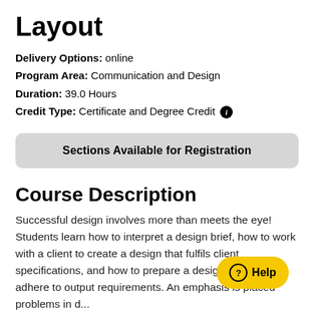Layout
Delivery Options: online
Program Area: Communication and Design
Duration: 39.0 Hours
Credit Type: Certificate and Degree Credit
Sections Available for Registration
Course Description
Successful design involves more than meets the eye! Students learn how to interpret a design brief, how to work with a client to create a design that fulfils client specifications, and how to prepare a design that will adhere to output requirements. An emphasis is placed problems in d...